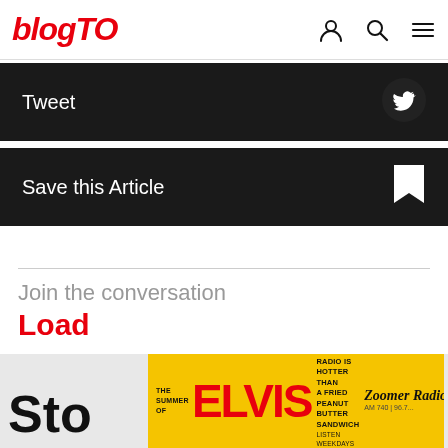blogTO
Tweet
Save this Article
Join the conversation
Load
comments
[Figure (screenshot): Bottom partial area showing 'Sto' text and Zoomer Radio Elvis advertisement banner on yellow background]